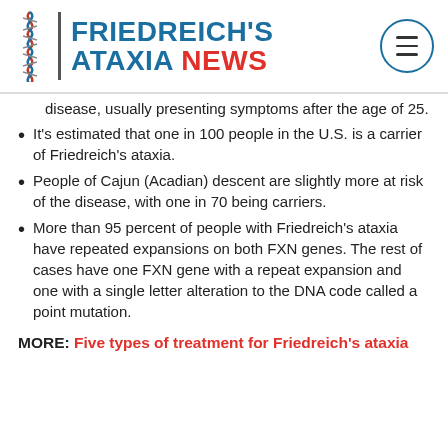FRIEDREICH'S ATAXIA NEWS
disease, usually presenting symptoms after the age of 25.
It's estimated that one in 100 people in the U.S. is a carrier of Friedreich's ataxia.
People of Cajun (Acadian) descent are slightly more at risk of the disease, with one in 70 being carriers.
More than 95 percent of people with Friedreich's ataxia have repeated expansions on both FXN genes. The rest of cases have one FXN gene with a repeat expansion and one with a single letter alteration to the DNA code called a point mutation.
MORE: Five types of treatment for Friedreich's ataxia